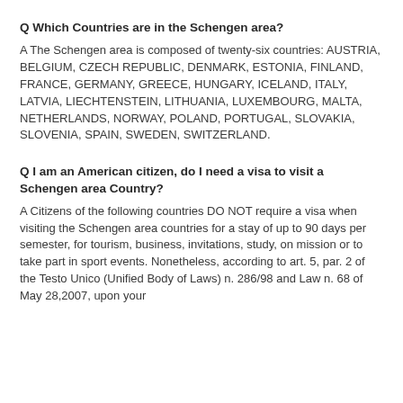Q Which Countries are in the Schengen area?
A The Schengen area is composed of twenty-six countries: AUSTRIA, BELGIUM, CZECH REPUBLIC, DENMARK, ESTONIA, FINLAND, FRANCE, GERMANY, GREECE, HUNGARY, ICELAND, ITALY, LATVIA, LIECHTENSTEIN, LITHUANIA, LUXEMBOURG, MALTA, NETHERLANDS, NORWAY, POLAND, PORTUGAL, SLOVAKIA, SLOVENIA, SPAIN, SWEDEN, SWITZERLAND.
Q I am an American citizen, do I need a visa to visit a Schengen area Country?
A Citizens of the following countries DO NOT require a visa when visiting the Schengen area countries for a stay of up to 90 days per semester, for tourism, business, invitations, study, on mission or to take part in sport events. Nonetheless, according to art. 5, par. 2 of the Testo Unico (Unified Body of Laws) n. 286/98 and Law n. 68 of May 28,2007, upon your